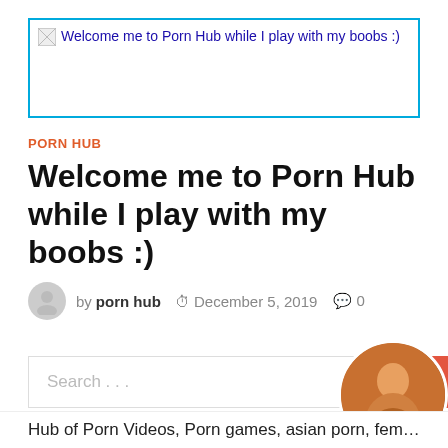[Figure (screenshot): Broken image placeholder with alt text: Welcome me to Porn Hub while I play with my boobs :)]
PORN HUB
Welcome me to Porn Hub while I play with my boobs :)
by porn hub   December 5, 2019   0
[Figure (screenshot): Search bar with placeholder 'Search ...' and red search button with notification badge showing '2', plus circular photo of a woman]
Hub of Porn Videos, Porn games, asian porn, femdom